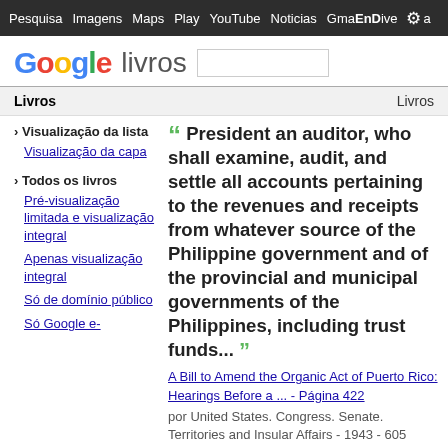Pesquisa  Imagens  Maps  Play  YouTube  Noticias  Gmail  Drive  EnDave
[Figure (logo): Google livros logo with search box]
Livros  Livros
› Visualização da lista
Visualização da capa
› Todos os livros
Pré-visualização limitada e visualização integral
Apenas visualização integral
Só de domínio público
Só Google e-
President an auditor, who shall examine, audit, and settle all accounts pertaining to the revenues and receipts from whatever source of the Philippine government and of the provincial and municipal governments of the Philippines, including trust funds...
A Bill to Amend the Organic Act of Puerto Rico: Hearings Before a ... - Página 422
por United States. Congress. Senate. Territories and Insular Affairs - 1943 - 605 páginas
Visualização integral - Acerca deste livro